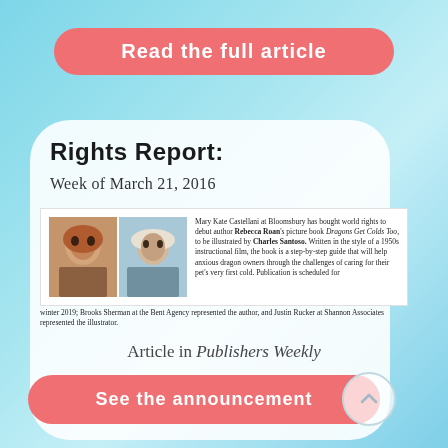Read the full article
Rights Report:
Week of March 21, 2016
Mary Kate Castellani at Bloomsbury has bought world rights to debut author Rebecca Roan's picture book Dragons Get Colds Too, to be illustrated by Charles Santoso. Written in the style of a 1950s instructional film, the book is a step-by-step guide that will help anxious dragon owners through the challenges of caring for their pet's very first cold. Publication is scheduled for winter 2019; Brooks Sherman at the Bent Agency represented the author, and Justin Rucker at Shannon Associates represented the illustrator.
Article in Publishers Weekly
See the announcement